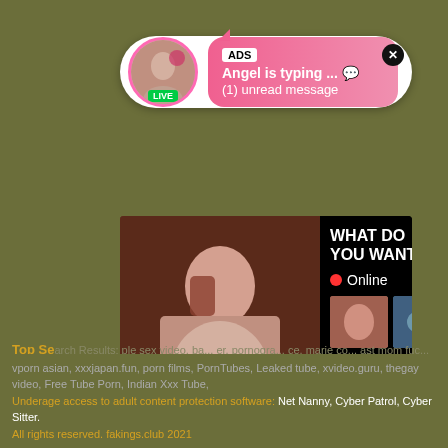[Figure (screenshot): Advertisement notification bubble with avatar, LIVE badge, ADS tag, 'Angel is typing ... 💬' and '(1) unread message' text on pink gradient background, with close X button]
[Figure (screenshot): Adult content advertisement widget showing 'WHAT DO YOU WANT?' text, WATCH button, Online indicator, thumbnail images, and 'Cumming, ass fucking, squirt or...' text with ADS label]
Top Se... ple sex video, ba... er, pornogra... ce, marie co... ast mom fuc... ae quinto a... rmana ozawa m... bickki bello sex... sage gay por... ne sex video, be... s, 24 xnxxx hd, indian kannada actress radhnika pandit real xxx sex videos real vidoes, humping seco porno, mandindo gaysex, college hidden cam sex, fideo porno hd, men having gay sex, brajil xxx hd video, nxnn con, full hd xxx video free mpegable4, porno grosse fesses noir, mardasi sex,
vporn asian, xxxjapan.fun, porn films, PornTubes, Leaked tube, xvideo.guru, thegay video, Free Tube Porn, Indian Xxx Tube,
Underage access to adult content protection software: Net Nanny, Cyber Patrol, Cyber Sitter.
All rights reserved. fakings.club 2021